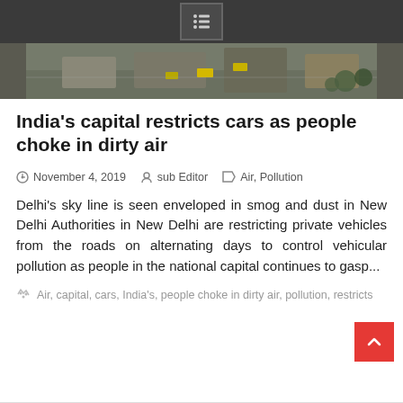[Figure (photo): Aerial view of New Delhi streets with vehicles, seen from above, mixed with smog/dust tones]
India's capital restricts cars as people choke in dirty air
November 4, 2019   sub Editor   Air, Pollution
Delhi's sky line is seen enveloped in smog and dust in New Delhi Authorities in New Delhi are restricting private vehicles from the roads on alternating days to control vehicular pollution as people in the national capital continues to gasp...
Air, capital, cars, India's, people choke in dirty air, pollution, restricts